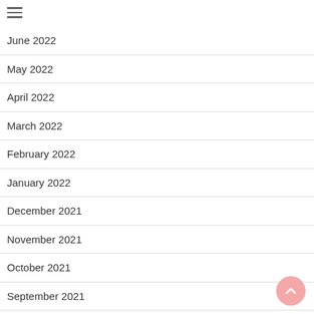[Figure (other): Hamburger menu icon (three horizontal lines)]
June 2022
May 2022
April 2022
March 2022
February 2022
January 2022
December 2021
November 2021
October 2021
September 2021
August 2021
July 2021